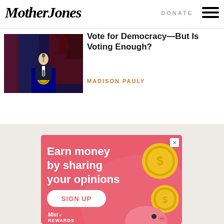Mother Jones | DONATE
Vote for Democracy—But Is Voting Enough?
MADISON PAULY
[Figure (photo): Biden speaking at a podium with blue and red lighting in background]
[Figure (illustration): Advertisement: Earn money by sharing your opinions. SIGN UP. Mist Rewards. Pink background with coin and piggy bank graphics.]